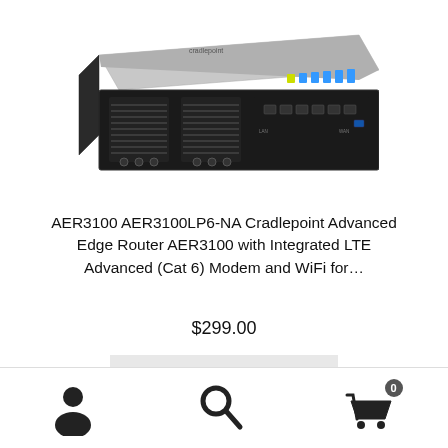[Figure (photo): Photo of Cradlepoint AER3100 Advanced Edge Router - a rack-mountable black network device with ventilation grills, antenna ports, and LED indicators on the front panel]
AER3100 AER3100LP6-NA Cradlepoint Advanced Edge Router AER3100 with Integrated LTE Advanced (Cat 6) Modem and WiFi for...
$299.00
Buy From Amazon